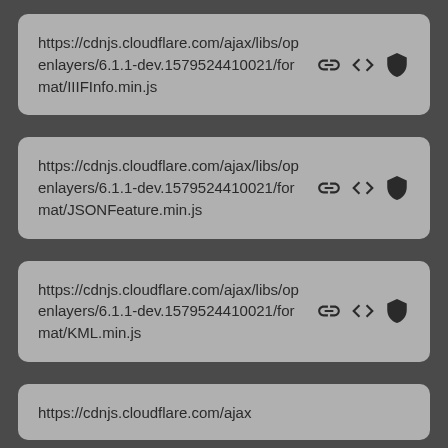https://cdnjs.cloudflare.com/ajax/libs/openlayers/6.1.1-dev.1579524410021/format/IIIFInfo.min.js
https://cdnjs.cloudflare.com/ajax/libs/openlayers/6.1.1-dev.1579524410021/format/JSONFeature.min.js
https://cdnjs.cloudflare.com/ajax/libs/openlayers/6.1.1-dev.1579524410021/format/KML.min.js
https://cdnjs.cloudflare.com/ajax